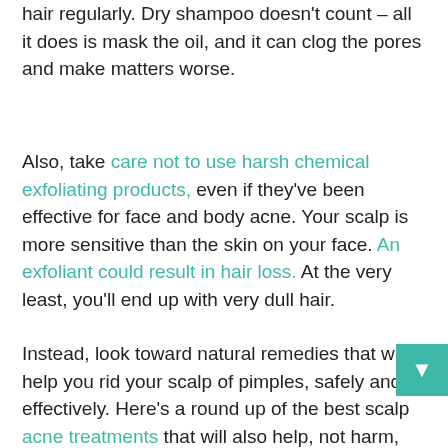hair regularly. Dry shampoo doesn't count – all it does is mask the oil, and it can clog the pores and make matters worse.
Also, take care not to use harsh chemical exfoliating products, even if they've been effective for face and body acne. Your scalp is more sensitive than the skin on your face. An exfoliant could result in hair loss. At the very least, you'll end up with very dull hair.
Instead, look toward natural remedies that will help you rid your scalp of pimples, safely and effectively. Here's a round up of the best scalp acne treatments that will also help, not harm, your